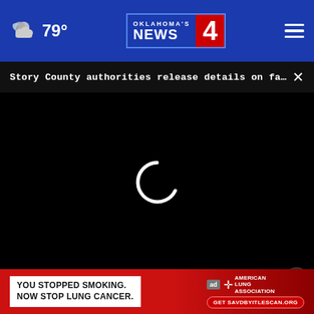79° Oklahoma's News 4
Story County authorities release details on fatal s... ×
[Figure (screenshot): Black video player area with white loading spinner icon in center]
y
Plaque Psoriasis Treatment | S  ×
[Figure (infographic): Red advertisement banner: YOU STOPPED SMOKING. NOW STOP LUNG CANCER. with American Lung Association logo and Get SAVDBYITLESCAN.ORG button]